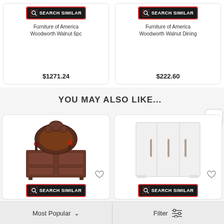[Figure (screenshot): Search Similar button with magnifying glass icon, black background with red border]
Furniture of America Woodworth Walnut 6pc
$1271.24
[Figure (screenshot): Search Similar button with magnifying glass icon, black background with red border]
Furniture of America Woodworth Walnut Dining
$222.60
YOU MAY ALSO LIKE...
[Figure (photo): Ornate dark wood dresser with mirror, carved details]
[Figure (screenshot): Search Similar button with magnifying glass icon, black background with red border]
[Figure (photo): White wardrobe with multiple panels and vertical handles]
[Figure (screenshot): Search Similar button with magnifying glass icon, black background with red border]
Most Popular
Filter